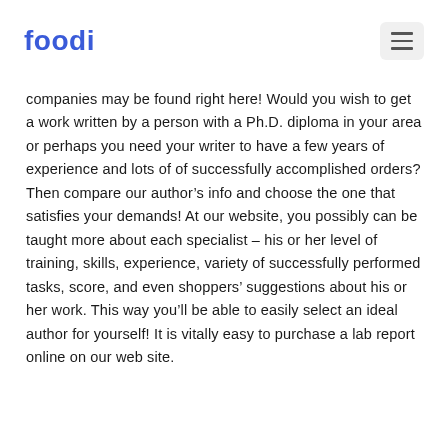foodi
companies may be found right here! Would you wish to get a work written by a person with a Ph.D. diploma in your area or perhaps you need your writer to have a few years of experience and lots of of successfully accomplished orders? Then compare our author’s info and choose the one that satisfies your demands! At our website, you possibly can be taught more about each specialist – his or her level of training, skills, experience, variety of successfully performed tasks, score, and even shoppers’ suggestions about his or her work. This way you’ll be able to easily select an ideal author for yourself! It is vitally easy to purchase a lab report online on our web site.